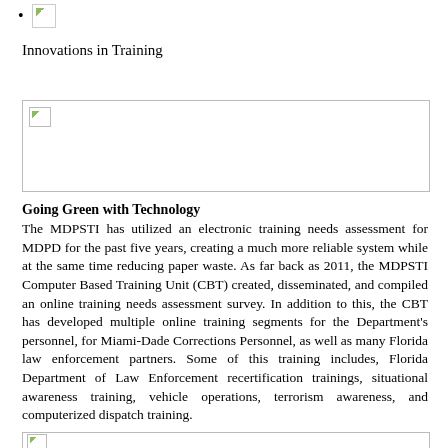[image bullet]
Innovations in Training
[Figure (photo): Large placeholder image, content not visible (broken image icon)]
Going Green with Technology
The MDPSTI has utilized an electronic training needs assessment for MDPD for the past five years, creating a much more reliable system while at the same time reducing paper waste. As far back as 2011, the MDPSTI Computer Based Training Unit (CBT) created, disseminated, and compiled an online training needs assessment survey. In addition to this, the CBT has developed multiple online training segments for the Department's personnel, for Miami-Dade Corrections Personnel, as well as many Florida law enforcement partners. Some of this training includes, Florida Department of Law Enforcement recertification trainings, situational awareness training, vehicle operations, terrorism awareness, and computerized dispatch training.
[Figure (photo): Partial placeholder image at bottom of page (broken image icon)]